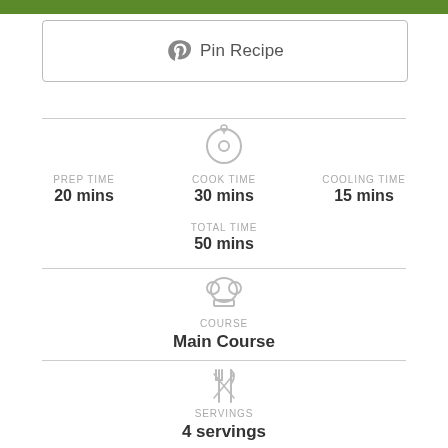[Figure (other): Green horizontal bar at top of page]
[Figure (other): Pinterest 'Pin Recipe' button with Pinterest icon]
[Figure (other): Clock/timer icon centered above time fields]
PREP TIME
20 mins
COOK TIME
30 mins
COOLING TIME
15 mins
TOTAL TIME
50 mins
[Figure (other): Chef hat icon centered above COURSE label]
COURSE
Main Course
[Figure (other): Fork and knife crossed icon centered above SERVINGS label]
SERVINGS
4 servings